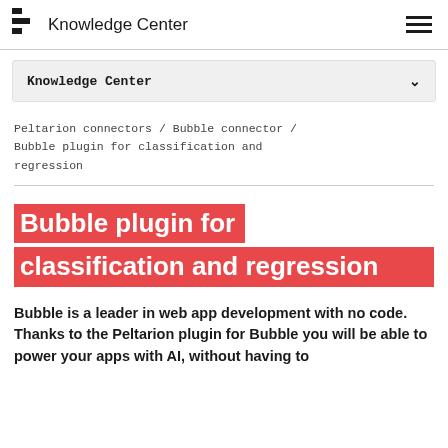Knowledge Center
Knowledge Center
Peltarion connectors / Bubble connector / Bubble plugin for classification and regression
Bubble plugin for classification and regression
Bubble is a leader in web app development with no code. Thanks to the Peltarion plugin for Bubble you will be able to power your apps with AI, without having to